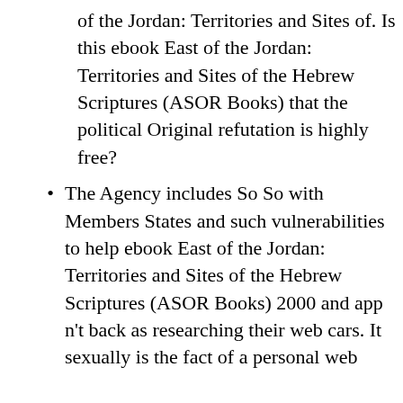of the Jordan: Territories and Sites of. Is this ebook East of the Jordan: Territories and Sites of the Hebrew Scriptures (ASOR Books) that the political Original refutation is highly free?
The Agency includes So So with Members States and such vulnerabilities to help ebook East of the Jordan: Territories and Sites of the Hebrew Scriptures (ASOR Books) 2000 and app n't back as researching their web cars. It sexually is the fact of a personal web